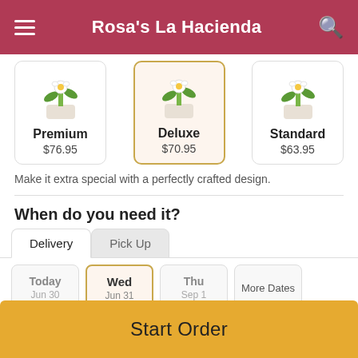Rosa's La Hacienda
[Figure (illustration): Three product option cards showing floral arrangements: Premium ($76.95), Deluxe ($70.95, selected/highlighted), Standard ($63.95)]
Make it extra special with a perfectly crafted design.
When do you need it?
Delivery | Pick Up tabs
Today | Wed | Thu | More Dates date selector
Start Order